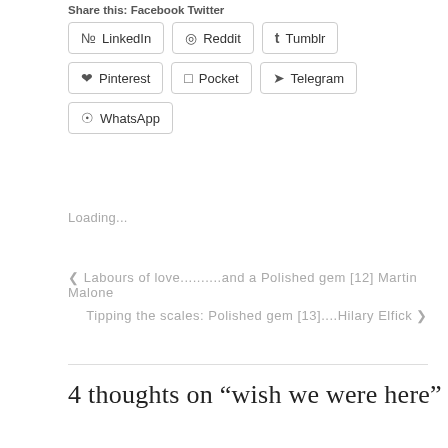Share this: Facebook Twitter
LinkedIn
Reddit
Tumblr
Pinterest
Pocket
Telegram
WhatsApp
Loading...
< Labours of love..........and a Polished gem [12] Martin Malone
Tipping the scales: Polished gem [13]....Hilary Elfick >
4 thoughts on “wish we were here”